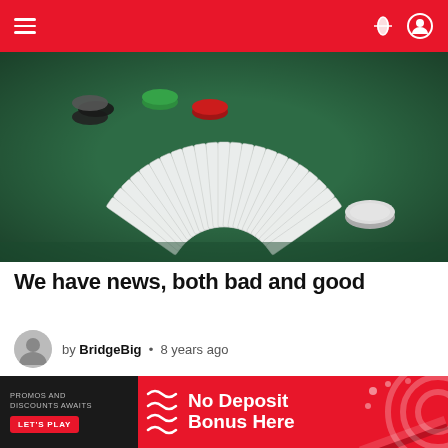Navigation header with hamburger menu and icons
[Figure (photo): Fanned out playing cards on a green felt casino table with poker chips in the background]
We have news, both bad and good
by BridgeBig • 8 years ago
[Figure (photo): Blurred interior image of a game room or casino with cards displayed, shown with a red hot trending badge and a close button overlay]
[Figure (infographic): Advertisement banner: No Deposit Bonus Here — Promos and Discounts Awaits, Let's Play]